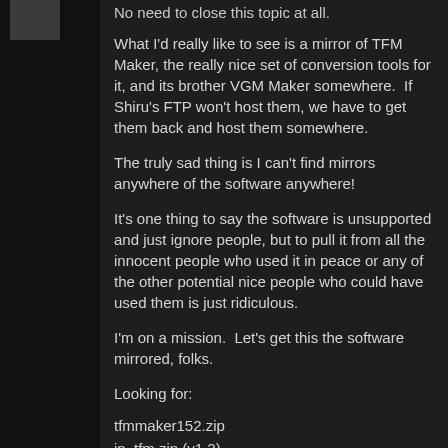No need to close this topic at all.
What I'd really like to see is a mirror of TFM Maker, the really nice set of conversion tools for it, and its brother VGM Maker somewhere.  If Shiru's FTP won't host them, we have to get them back and host them somewhere.
The truly sad thing is I can't find mirrors anywhere of the software anywhere!
It's one thing to say the software is unsupported and just ignore people, but to pull it from all the innocent people who used it in peace or any of the other potential nice people who could have used them is just ridiculous.
I'm on a mission.  Let's get this the software mirrored, folks.
Looking for:
tfmmaker152.zip
in_tfm.zip (v1.2)
vopmxtfi.zip (v1.1)
vgm2tfi.zip (V1.1)
vgm2opm.zip
vgmmaker11.zip
Posted at... click... archive.org... So I'll edit this in a...